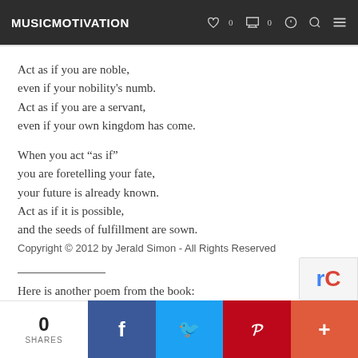MUSICMOTIVATION
Act as if you are noble,
even if your nobility's numb.
Act as if you are a servant,
even if your own kingdom has come.

When you act “as if”
you are foretelling your fate,
your future is already known.
Act as if it is possible,
and the seeds of fulfillment are sown.
Copyright © 2012 by Jerald Simon - All Rights Reserved
Here is another poem from the book:
Where Are the Men?
by Jerald Simon
0 SHARES